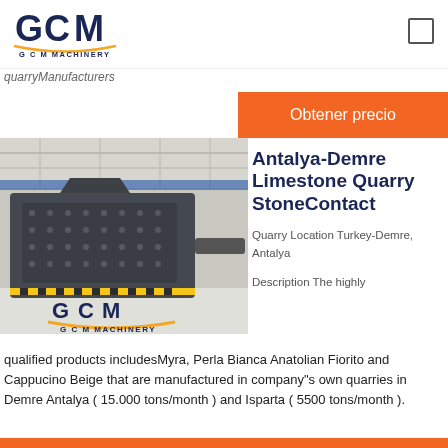GCM MACHINERY
quarryManufacturers
Obtener precio
[Figure (photo): Industrial stone crusher machine in a factory hall, branded GCM MACHINERY]
Antalya-Demre Limestone Quarry StoneContact
Quarry Location Turkey-Demre, Antalya

Description The highly qualified products includesMyra, Perla Bianca Anatolian Fiorito and Cappucino Beige that are manufactured in company"s own quarries in Demre Antalya ( 15.000 tons/month ) and Isparta ( 5500 tons/month ).